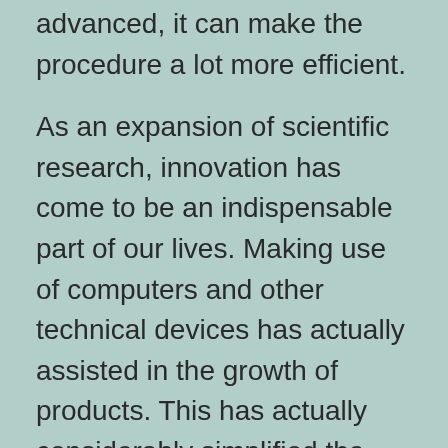advanced, it can make the procedure a lot more efficient.
As an expansion of scientific research, innovation has come to be an indispensable part of our lives. Making use of computers and other technical devices has actually assisted in the growth of products. This has actually considerably simplified the process of producing as well as utilizing equipments. It is possible to produce devices with only a few various parts. This is how an equipment can improve a procedure. Some devices are more